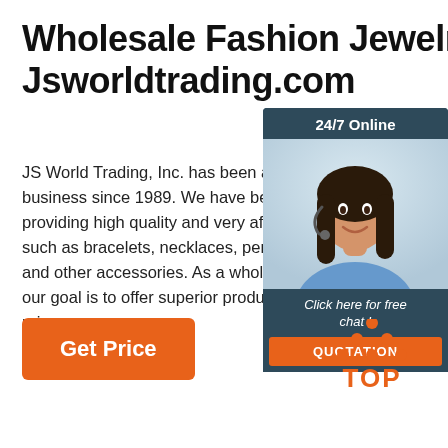Wholesale Fashion Jewelry: Jsworldtrading.com
JS World Trading, Inc. has been a family business since 1989. We have been specializing in providing high quality and very affordable such as bracelets, necklaces, pendants and other accessories. As a wholesale our goal is to offer superior products at competitive prices.
[Figure (infographic): Live chat widget with photo of female customer service representative, '24/7 Online' header, 'Click here for free chat!' text, and orange QUOTATION button]
[Figure (infographic): Orange 'Get Price' button]
[Figure (logo): TOP logo with orange dots forming a triangle above the word TOP in orange]